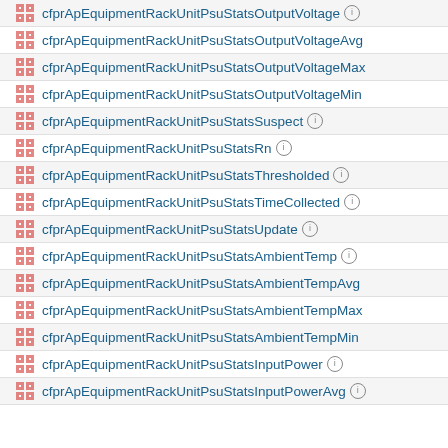cfprApEquipmentRackUnitPsuStatsOutputVoltage
cfprApEquipmentRackUnitPsuStatsOutputVoltageAvg
cfprApEquipmentRackUnitPsuStatsOutputVoltageMax
cfprApEquipmentRackUnitPsuStatsOutputVoltageMin
cfprApEquipmentRackUnitPsuStatsSuspect
cfprApEquipmentRackUnitPsuStatsRn
cfprApEquipmentRackUnitPsuStatsThresholded
cfprApEquipmentRackUnitPsuStatsTimeCollected
cfprApEquipmentRackUnitPsuStatsUpdate
cfprApEquipmentRackUnitPsuStatsAmbientTemp
cfprApEquipmentRackUnitPsuStatsAmbientTempAvg
cfprApEquipmentRackUnitPsuStatsAmbientTempMax
cfprApEquipmentRackUnitPsuStatsAmbientTempMin
cfprApEquipmentRackUnitPsuStatsInputPower
cfprApEquipmentRackUnitPsuStatsInputPowerAvg